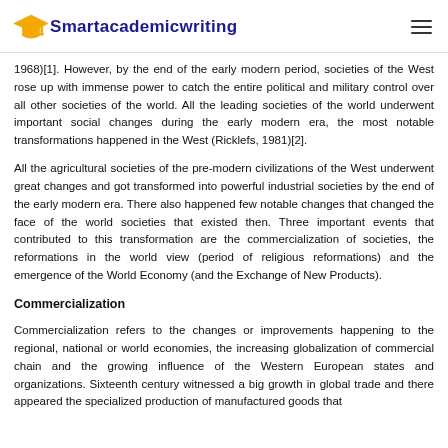Smartacademicwriting
1968)[1]. However, by the end of the early modern period, societies of the West rose up with immense power to catch the entire political and military control over all other societies of the world. All the leading societies of the world underwent important social changes during the early modern era, the most notable transformations happened in the West (Ricklefs, 1981)[2].
All the agricultural societies of the pre-modern civilizations of the West underwent great changes and got transformed into powerful industrial societies by the end of the early modern era. There also happened few notable changes that changed the face of the world societies that existed then. Three important events that contributed to this transformation are the commercialization of societies, the reformations in the world view (period of religious reformations) and the emergence of the World Economy (and the Exchange of New Products).
Commercialization
Commercialization refers to the changes or improvements happening to the regional, national or world economies, the increasing globalization of commercial chain and the growing influence of the Western European states and organizations. Sixteenth century witnessed a big growth in global trade and there appeared the specialized production of manufactured goods that